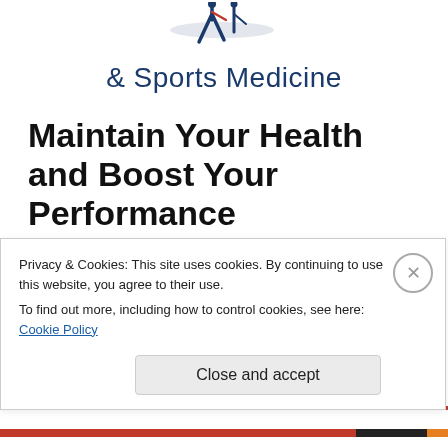[Figure (logo): Partial sports medicine logo showing athlete figure silhouette at top]
& Sports Medicine
Maintain Your Health and Boost Your Performance
Initially, most patients present to my office due to pain. Whether it be shoulder shoulder pain, back pain, knee pain or the like. The first thing that most people want to know is logically ,"how long until I am better?" While this is
Privacy & Cookies: This site uses cookies. By continuing to use this website, you agree to their use.
To find out more, including how to control cookies, see here: Cookie Policy
Close and accept